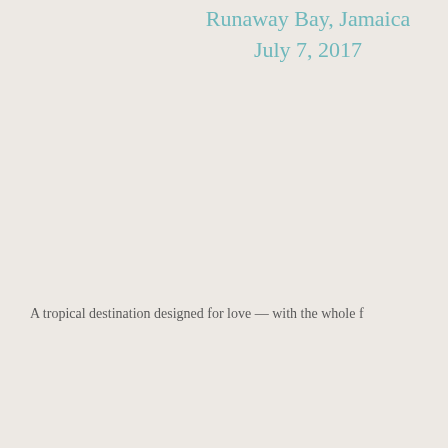Runaway Bay, Jamaica
July 7, 2017
A tropical destination designed for love — with the whole f